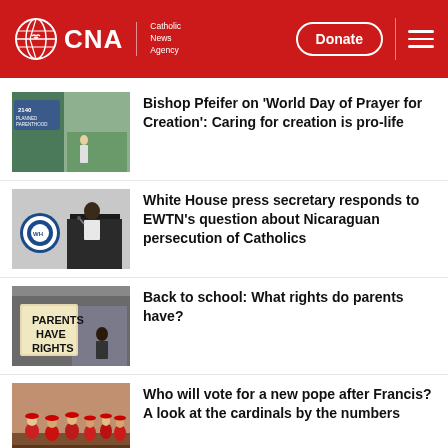CNA | Catholic News Agency
Bishop Pfeifer on ‘World Day of Prayer for Creation’: Caring for creation is pro-life
White House press secretary responds to EWTN’s question about Nicaraguan persecution of Catholics
Back to school: What rights do parents have?
Who will vote for a new pope after Francis? A look at the cardinals by the numbers